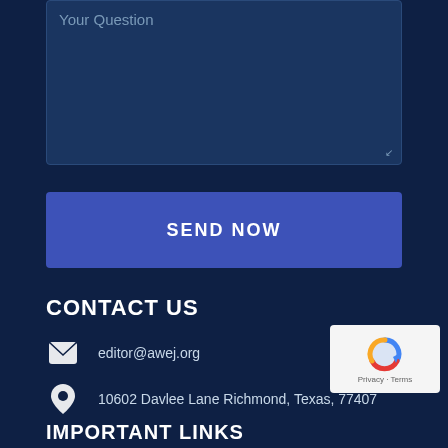[Figure (screenshot): Textarea input field with placeholder text 'Your Question' on dark navy background]
SEND NOW
CONTACT US
editor@awej.org
10602 Davlee Lane Richmond, Texas, 77407
info@awej.org
F12-2 Villa Wangasamas, Seri Wangsa, Wangsa Maju 53300 Kuala Lumpur, Malaysia
[Figure (logo): reCAPTCHA widget with Privacy and Terms links]
IMPORTANT LINKS